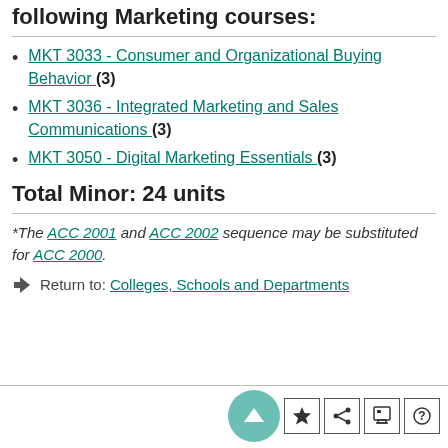Select two (2) courses from the following Marketing courses:
MKT 3033 - Consumer and Organizational Buying Behavior (3)
MKT 3036 - Integrated Marketing and Sales Communications (3)
MKT 3050 - Digital Marketing Essentials (3)
Total Minor: 24 units
*The ACC 2001 and ACC 2002 sequence may be substituted for ACC 2000.
Return to: Colleges, Schools and Departments